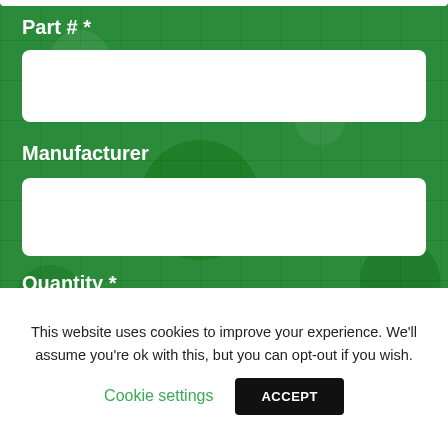Part # *
[Figure (screenshot): White input field for Part # entry]
Manufacturer
[Figure (screenshot): White input field for Manufacturer entry]
Quantity *
[Figure (screenshot): White input field for Quantity entry]
Target Price
This website uses cookies to improve your experience. We'll assume you're ok with this, but you can opt-out if you wish.
Cookie settings
ACCEPT